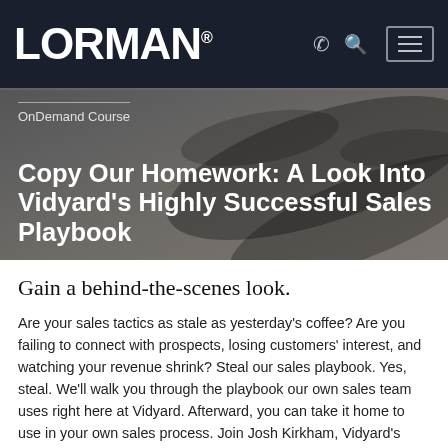LORMAN®
OnDemand Course
Copy Our Homework: A Look Into Vidyard's Highly Successful Sales Playbook
Gain a behind-the-scenes look.
Are your sales tactics as stale as yesterday's coffee? Are you failing to connect with prospects, losing customers' interest, and watching your revenue shrink? Steal our sales playbook. Yes, steal. We'll walk you through the playbook our own sales team uses right here at Vidyard. Afterward, you can take it home to use in your own sales process. Join Josh Kirkham, Vidyard's Sales Manager of Emerging Sales, for a